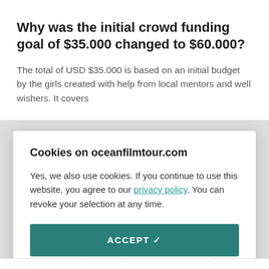Why was the initial crowd funding goal of $35.000 changed to $60.000?
The total of USD $35.000 is based on an initial budget by the girls created with help from local mentors and well wishers. It covers
Cookies on oceanfilmtour.com
Yes, we also use cookies. If you continue to use this website, you agree to our privacy policy. You can revoke your selection at any time.
ACCEPT ✓
COOKIE SETTINGS